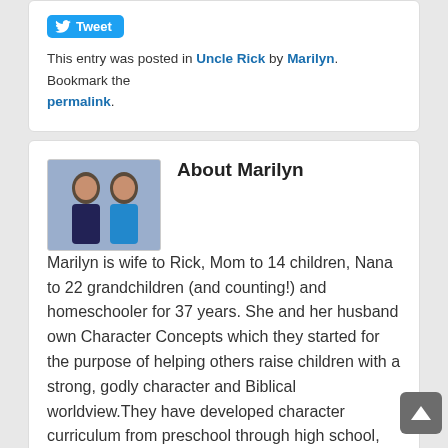Tweet
This entry was posted in Uncle Rick by Marilyn. Bookmark the permalink.
About Marilyn
[Figure (photo): Photo of Marilyn and her husband]
Marilyn is wife to Rick, Mom to 14 children, Nana to 22 grandchildren (and counting!) and homeschooler for 37 years. She and her husband own Character Concepts which they started for the purpose of helping others raise children with a strong, godly character and Biblical worldview.They have developed character curriculum from preschool through high school, based on what they found worked when teaching their own 14 children over the years. Her passion is to help young moms raise kids of